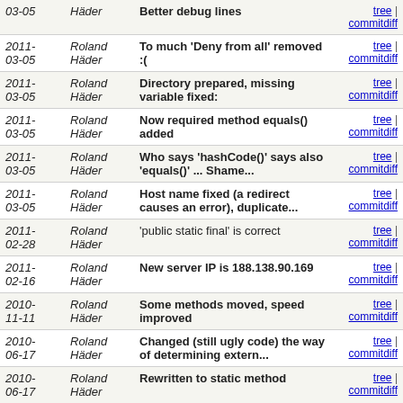| Date | Author | Message | Links |
| --- | --- | --- | --- |
| 03-05 | Häder | Better debug lines | tree | commitdiff |
| 2011-03-05 | Roland Häder | To much 'Deny from all' removed :( | tree | commitdiff |
| 2011-03-05 | Roland Häder | Directory prepared, missing variable fixed: | tree | commitdiff |
| 2011-03-05 | Roland Häder | Now required method equals() added | tree | commitdiff |
| 2011-03-05 | Roland Häder | Who says 'hashCode()' says also 'equals()' ... Shame... | tree | commitdiff |
| 2011-03-05 | Roland Häder | Host name fixed (a redirect causes an error), duplicate... | tree | commitdiff |
| 2011-02-28 | Roland Häder | 'public static final' is correct | tree | commitdiff |
| 2011-02-16 | Roland Häder | New server IP is 188.138.90.169 | tree | commitdiff |
| 2010-11-11 | Roland Häder | Some methods moved, speed improved | tree | commitdiff |
| 2010-06-17 | Roland Häder | Changed (still ugly code) the way of determining extern... | tree | commitdiff |
| 2010-06-17 | Roland Häder | Rewritten to static method | tree | commitdiff |
| 2010-06-17 | Roland Häder | Debug lines added, empty folder removed | tree | commitdiff |
| 2010-06-17 | Roland Häder | More relaxed check (only first X characters) | tree | commitdiff |